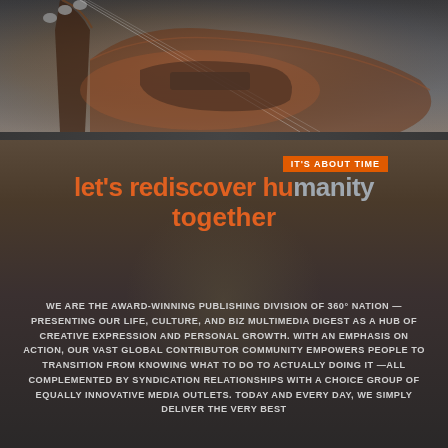[Figure (photo): Guitar (electric Stratocaster-style) photographed from above against a gray/brown gradient background]
IT'S ABOUT TIME
let's rediscover humanity together
WE ARE THE AWARD-WINNING PUBLISHING DIVISION OF 360° NATION — PRESENTING OUR LIFE, CULTURE, AND BIZ MULTIMEDIA DIGEST AS A HUB OF CREATIVE EXPRESSION AND PERSONAL GROWTH. WITH AN EMPHASIS ON ACTION, OUR VAST GLOBAL CONTRIBUTOR COMMUNITY EMPOWERS PEOPLE TO TRANSITION FROM KNOWING WHAT TO DO TO ACTUALLY DOING IT —ALL COMPLEMENTED BY SYNDICATION RELATIONSHIPS WITH A CHOICE GROUP OF EQUALLY INNOVATIVE MEDIA OUTLETS. TODAY AND EVERY DAY, WE SIMPLY DELIVER THE VERY BEST